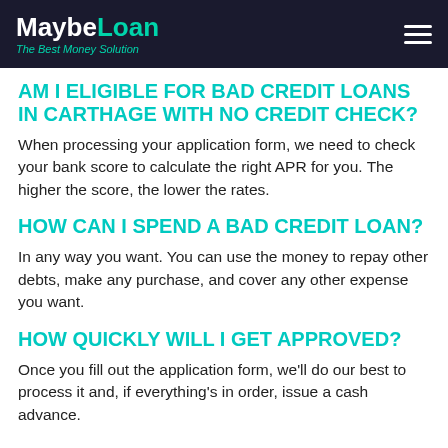MaybeLoan — The Best Money Solution
AM I ELIGIBLE FOR BAD CREDIT LOANS IN CARTHAGE WITH NO CREDIT CHECK?
When processing your application form, we need to check your bank score to calculate the right APR for you. The higher the score, the lower the rates.
HOW CAN I SPEND A BAD CREDIT LOAN?
In any way you want. You can use the money to repay other debts, make any purchase, and cover any other expense you want.
HOW QUICKLY WILL I GET APPROVED?
Once you fill out the application form, we'll do our best to process it and, if everything's in order, issue a cash advance.